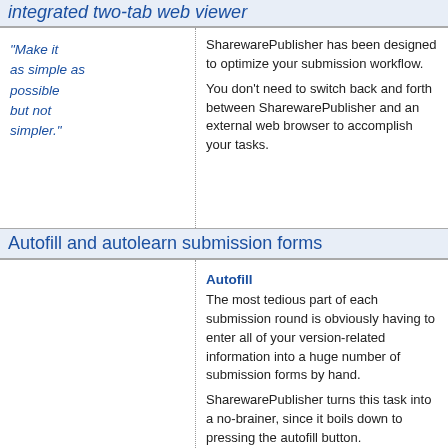Integrated two-tab web viewer
"Make it as simple as possible but not simpler."
SharewarePublisher has been designed to optimize your submission workflow. You don't need to switch back and forth between SharewarePublisher and an external web browser to accomplish your tasks.
Autofill and autolearn submission forms
Autofill
The most tedious part of each submission round is obviously having to enter all of your version-related information into a huge number of submission forms by hand.
SharewarePublisher turns this task into a no-brainer, since it boils down to pressing the autofill button. SharewarePublisher then fills out all fields of the submission form with the appropriate data.
This does not only speed up things, but also ensures consistent information across all sites and eliminates typing mistakes.